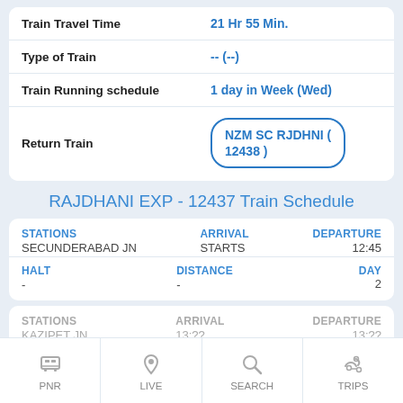|  |  |
| --- | --- |
| Train Travel Time | 21 Hr 55 Min. |
| Type of Train | -- (--) |
| Train Running schedule | 1 day in Week (Wed) |
| Return Train | NZM SC RJDHNI ( 12438 ) |
RAJDHANI EXP - 12437 Train Schedule
| STATIONS | ARRIVAL | DEPARTURE |
| --- | --- | --- |
| SECUNDERABAD JN | STARTS | 12:45 |
| HALT: - | DISTANCE: - | DAY: 2 |
| STATIONS | ARRIVAL | DEPARTURE |
| --- | --- | --- |
| KAZIPET JN | 13:?? | 13:?? |
| HALT: 2 M | DISTANCE: 1:32 | DAY: ? |
PNR | LIVE | SEARCH | TRIPS